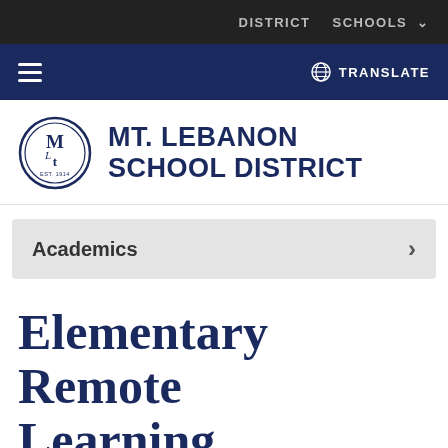DISTRICT   SCHOOLS
≡   TRANSLATE
[Figure (logo): Mt. Lebanon School District circular seal logo with 'ML' initials]
MT. LEBANON SCHOOL DISTRICT
Academics
Elementary Remote Learning